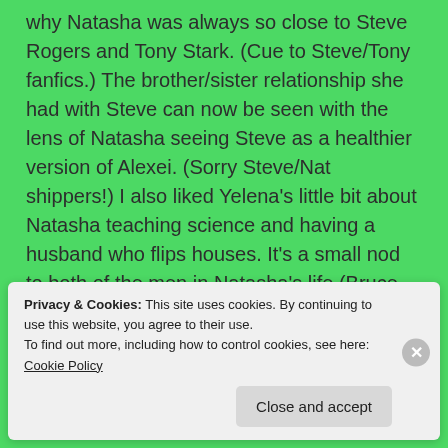why Natasha was always so close to Steve Rogers and Tony Stark. (Cue to Steve/Tony fanfics.) The brother/sister relationship she had with Steve can now be seen with the lens of Natasha seeing Steve as a healthier version of Alexei. (Sorry Steve/Nat shippers!) I also liked Yelena's little bit about Natasha teaching science and having a husband who flips houses. It's a small nod to both of the men in Natasha's life (Bruce Banner and Clint Barton).
[Figure (screenshot): Tumblr logo banner with colorful illustrated background featuring orange, pink, and purple gradient with cartoon characters and doodles]
Privacy & Cookies: This site uses cookies. By continuing to use this website, you agree to their use.
To find out more, including how to control cookies, see here: Cookie Policy
Close and accept